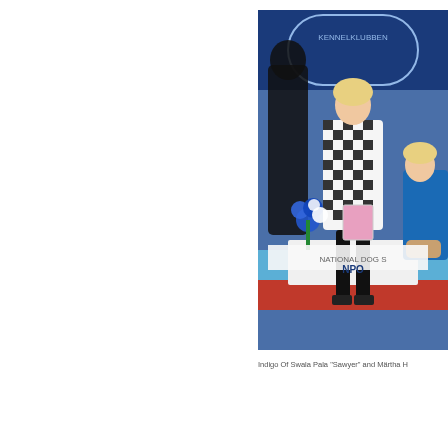[Figure (photo): A woman in a black and white checkered dress stands on a stage at what appears to be a dog show, holding a framed picture. Behind her is a blue banner reading 'KENNELKLUBBEN'. Blue and white flowers are arranged nearby. Another woman in a blue outfit is kneeling to the right with a dog.]
Indigo Of Swala Pala "Sawyer" and Märtha H